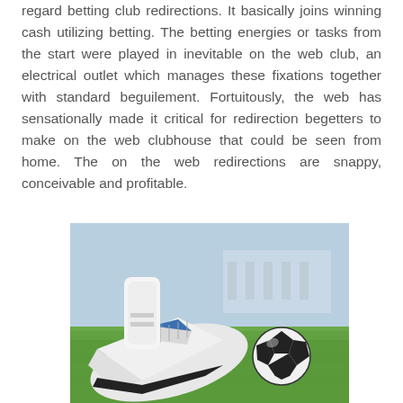regard betting club redirections. It basically joins winning cash utilizing betting. The betting energies or tasks from the start were played in inevitable on the web club, an electrical outlet which manages these fixations together with standard beguilement. Fortuitously, the web has sensationally made it critical for redirection begetters to make on the web clubhouse that could be seen from home. The on the web redirections are snappy, conceivable and profitable.
[Figure (photo): A soccer/football player's foot in a white cleat with blue accents, positioned on green grass, with a black and white soccer ball visible in the background. A stadium structure is visible in the far background.]